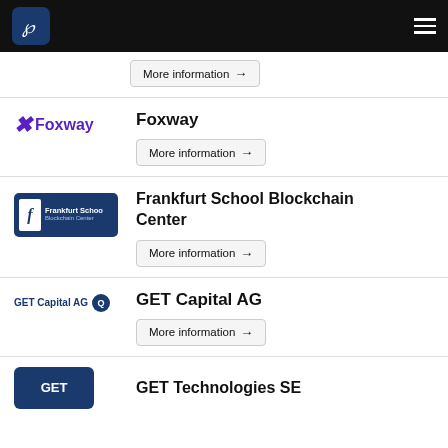[Figure (logo): Navigation bar with Pensum logo (white P on dark blue background) and hamburger menu on black bar]
More information →
[Figure (logo): Foxway logo — stylized X symbol and Foxway text in purple]
Foxway
More information →
[Figure (logo): Frankfurt School Blockchain Center logo — dark blue box with F icon and text]
Frankfurt School Blockchain Center
More information →
[Figure (logo): GET Capital AG logo — text and dark blue circle with Q]
GET Capital AG
More information →
[Figure (logo): GET Technologies SE logo — dark blue rectangle with GET text]
GET Technologies SE